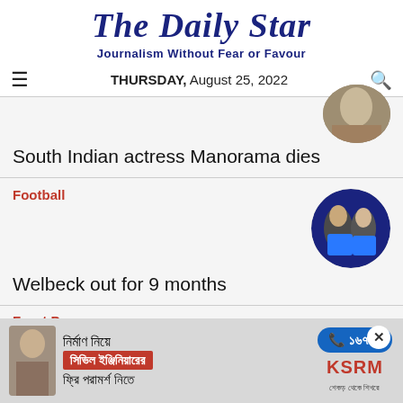The Daily Star
Journalism Without Fear or Favour
THURSDAY, August 25, 2022
South Indian actress Manorama dies
Football
Welbeck out for 9 months
Front Page
নির্মাণ নিয়ে সিভিল ইঞ্জিনিয়ারের ফ্রি পরামর্শ নিতে ☎ ১৬৭৪৯ KSRM শেকড় থেকে শিখরে